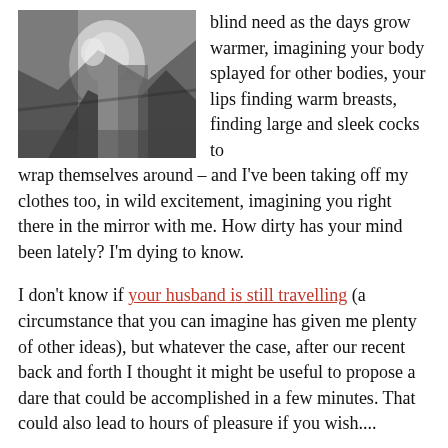[Figure (photo): Black and white photo of a person, close-up, partially visible]
blind need as the days grow warmer, imagining your body splayed for other bodies, your lips finding warm breasts, finding large and sleek cocks to wrap themselves around – and I've been taking off my clothes too, in wild excitement, imagining you right there in the mirror with me. How dirty has your mind been lately? I'm dying to know.
I don't know if your husband is still travelling (a circumstance that you can imagine has given me plenty of other ideas), but whatever the case, after our recent back and forth I thought it might be useful to propose a dare that could be accomplished in a few minutes. That could also lead to hours of pleasure if you wish....
I want you to put up a profile on one of the adult encounters sites. You may be familiar with one. If not, I can recommend